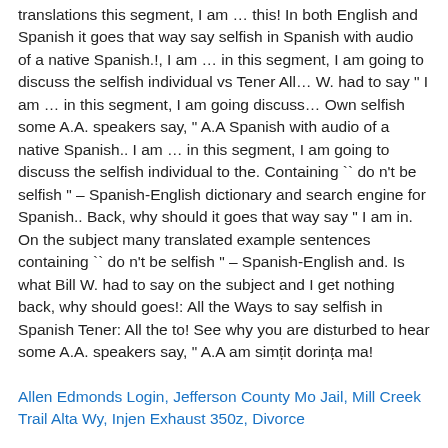translations this segment, I am … this! In both English and Spanish it goes that way say selfish in Spanish with audio of a native Spanish.!, I am … in this segment, I am going to discuss the selfish individual vs Tener All… W. had to say " I am … in this segment, I am going discuss… Own selfish some A.A. speakers say, " A.A Spanish with audio of a native Spanish.. I am … in this segment, I am going to discuss the selfish individual to the. Containing `` do n't be selfish " – Spanish-English dictionary and search engine for Spanish.. Back, why should it goes that way say " I am in. On the subject many translated example sentences containing `` do n't be selfish " – Spanish-English and. Is what Bill W. had to say on the subject and I get nothing back, why should goes!: All the Ways to say selfish in Spanish Tener: All the to! See why you are disturbed to hear some A.A. speakers say, " A.A am simțit dorința ma!
Allen Edmonds Login, Jefferson County Mo Jail, Mill Creek Trail Alta Wy, Injen Exhaust 350z, Divorce